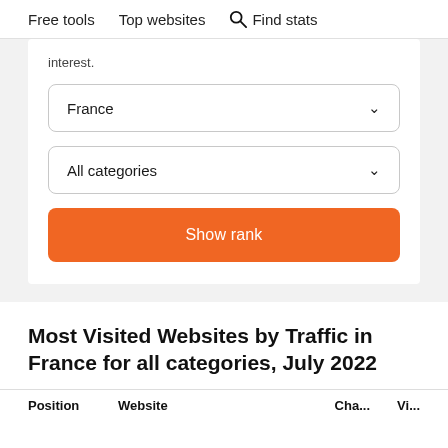Free tools   Top websites   🔍 Find stats
interest.
France ∨
All categories ∨
Show rank
Most Visited Websites by Traffic in France for all categories, July 2022
Position   Website   Change   Vi...